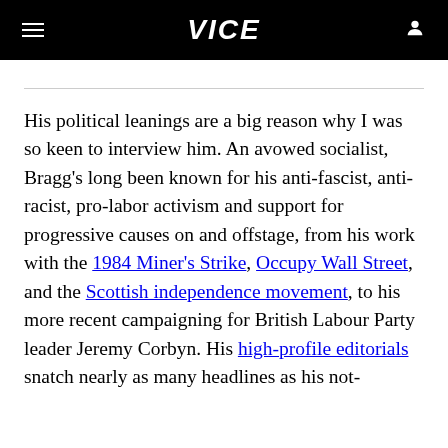VICE
His political leanings are a big reason why I was so keen to interview him. An avowed socialist, Bragg's long been known for his anti-fascist, anti-racist, pro-labor activism and support for progressive causes on and offstage, from his work with the 1984 Miner's Strike, Occupy Wall Street, and the Scottish independence movement, to his more recent campaigning for British Labour Party leader Jeremy Corbyn. His high-profile editorials snatch nearly as many headlines as his not-always-polular songs.